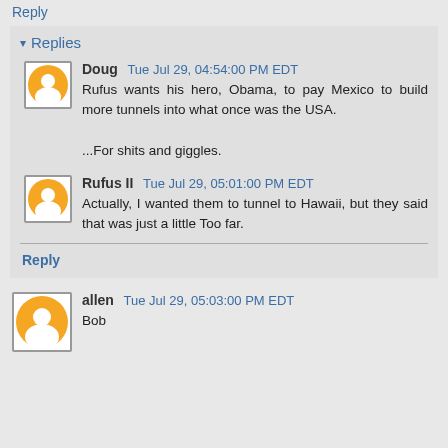Reply
Replies
Doug  Tue Jul 29, 04:54:00 PM EDT
Rufus wants his hero, Obama, to pay Mexico to build more tunnels into what once was the USA.

...For shits and giggles.
Rufus II  Tue Jul 29, 05:01:00 PM EDT
Actually, I wanted them to tunnel to Hawaii, but they said that was just a little Too far.
Reply
allen  Tue Jul 29, 05:03:00 PM EDT
Bob